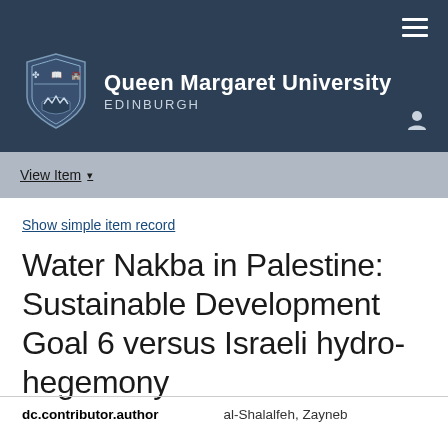Queen Margaret University EDINBURGH
View Item
Show simple item record
Water Nakba in Palestine: Sustainable Development Goal 6 versus Israeli hydro-hegemony
| dc.contributor.author |  |
| --- | --- |
| dc.contributor.author | al-Shalalfeh, Zayneb |